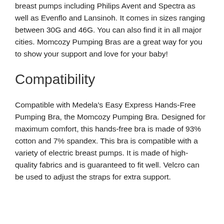breast pumps including Philips Avent and Spectra as well as Evenflo and Lansinoh. It comes in sizes ranging between 30G and 46G. You can also find it in all major cities. Momcozy Pumping Bras are a great way for you to show your support and love for your baby!
Compatibility
Compatible with Medela's Easy Express Hands-Free Pumping Bra, the Momcozy Pumping Bra. Designed for maximum comfort, this hands-free bra is made of 93% cotton and 7% spandex. This bra is compatible with a variety of electric breast pumps. It is made of high-quality fabrics and is guaranteed to fit well. Velcro can be used to adjust the straps for extra support.